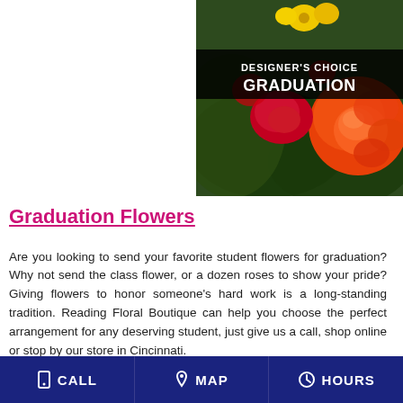[Figure (photo): Floral arrangement photo with red, orange, and yellow flowers including roses and carnations, with a dark banner overlay reading DESIGNER'S CHOICE GRADUATION in white bold text.]
Graduation Flowers
Are you looking to send your favorite student flowers for graduation? Why not send the class flower, or a dozen roses to show your pride? Giving flowers to honor someone's hard work is a long-standing tradition. Reading Floral Boutique can help you choose the perfect arrangement for any deserving student, just give us a call, shop online or stop by our store in Cincinnati.
CALL  MAP  HOURS